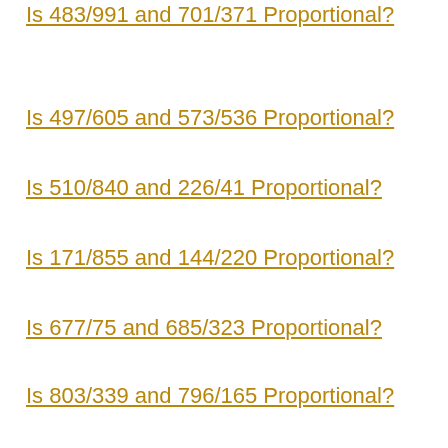Is 483/991 and 701/371 Proportional?
Is 497/605 and 573/536 Proportional?
Is 510/840 and 226/41 Proportional?
Is 171/855 and 144/220 Proportional?
Is 677/75 and 685/323 Proportional?
Is 803/339 and 796/165 Proportional?
Is 523/804 and 404/127 Proportional?
Is 771/814 and 974/239 Proportional?
Is 906/705 and 903/480 Proportional?